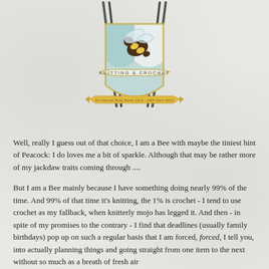[Figure (logo): Knitting & Crochet bee heraldic shield logo with knitting needles, a bee, and a banner reading '4th Annual Blog Week 22nd-28th April 2013']
Well, really I guess out of that choice, I am a Bee with maybe the tiniest hint of Peacock: I do loves me a bit of sparkle. Although that may be rather more of my jackdaw traits coming through ....
But I am a Bee mainly because I have something doing nearly 99% of the time. And 99% of that time it's knitting, the 1% is crochet - I tend to use crochet as my fallback, when knitterly mojo has legged it. And then - in spite of my promises to the contrary - I find that deadlines (usually family birthdays) pop up on such a regular basis that I am forced, forced, I tell you, into actually planning things and going straight from one item to the next without so much as a breath of fresh air